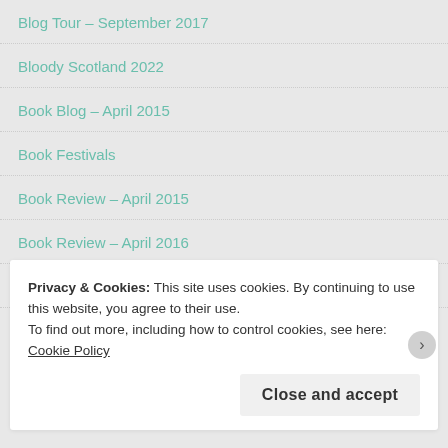Blog Tour – September 2017
Bloody Scotland 2022
Book Blog – April 2015
Book Festivals
Book Review – April 2015
Book Review – April 2016
Book Review – April 2017
Privacy & Cookies: This site uses cookies. By continuing to use this website, you agree to their use.
To find out more, including how to control cookies, see here: Cookie Policy
Close and accept